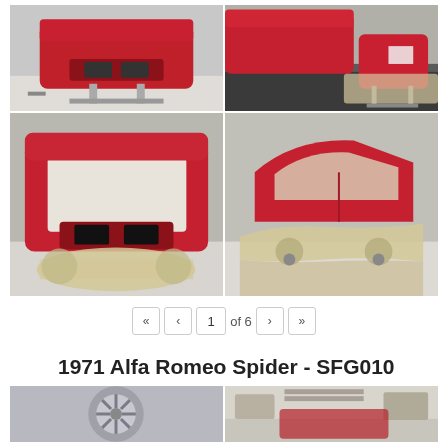[Figure (photo): Four photos of a red Alfa Romeo car body being painted/restored in a workshop. Top-left: front view of red car shell on stands. Top-right: red car panel/hood on stand with body work. Bottom-left: front 3/4 view of red car body interior exposed with masking tape. Bottom-right: side view of red car body on wheels with masking.]
« ‹ 1 of 6 › »
1971 Alfa Romeo Spider - SFG010
[Figure (photo): Two photos at the bottom: left shows a silver alloy wheel, right shows a garage interior.]